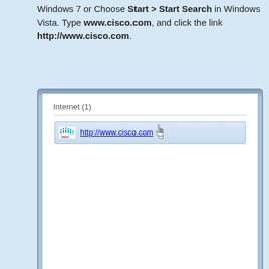Windows 7 or Choose Start > Start Search in Windows Vista. Type www.cisco.com, and click the link http://www.cisco.com.
[Figure (screenshot): A Windows search results dialog showing 'Internet (1)' section with a Cisco-logo result row displaying 'http://www.cisco.com' with a hand/pointer cursor hovering over the link.]